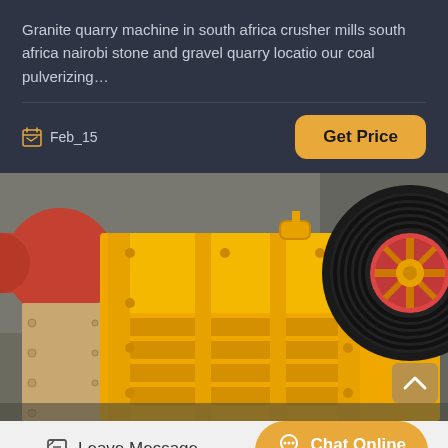Granite quarry machine in south africa crusher mills south africa nairobi stone and gravel quarry locatio our coal pulverizing…
Feb_15
Get Price
[Figure (photo): Yellow industrial jaw crusher machine with black pulley wheel in a factory setting]
Leave Message
Chat Online